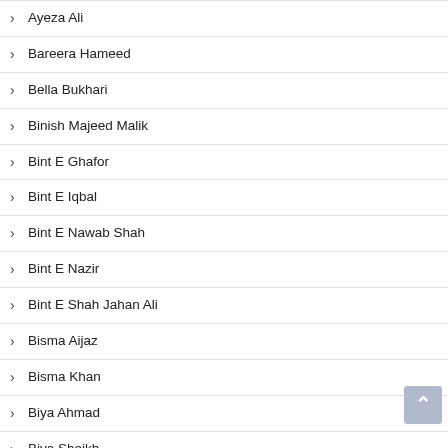Ayeza Ali
Bareera Hameed
Bella Bukhari
Binish Majeed Malik
Bint E Ghafor
Bint E Iqbal
Bint E Nawab Shah
Bint E Nazir
Bint E Shah Jahan Ali
Bisma Aijaz
Bisma Khan
Biya Ahmad
Biya Sheikh
Bushra Ali Memon
Deeba Tabasum